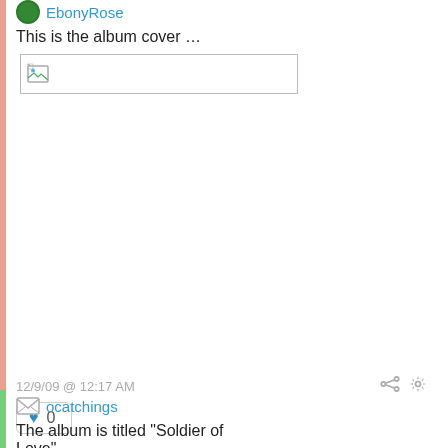This is the album cover …
[Figure (photo): Broken image placeholder box with a small broken image icon in the top-left corner]
12/9/09 @ 12:17 AM
♥ 0
ocatchings
The album is titled "Soldier of Love"………………………………